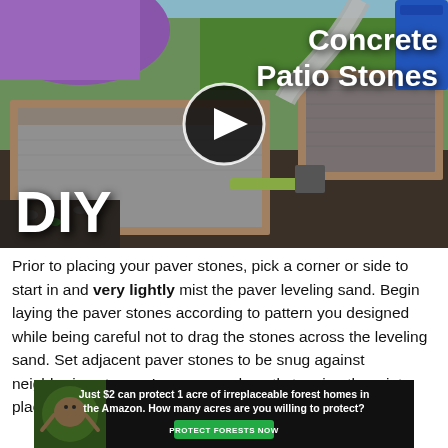[Figure (photo): DIY video thumbnail showing a person pouring concrete into wooden mold forms to make patio stones. White text overlay reads 'Concrete Patio Stones' in the top right, 'DIY' in the bottom left, and a play button circle in the center.]
Prior to placing your paver stones, pick a corner or side to start in and very lightly mist the paver leveling sand. Begin laying the paver stones according to pattern you designed while being careful not to drag the stones across the leveling sand. Set adjacent paver stones to be snug against neighboring stones. I recommend gently tapping them into place using a rubber mallet.
[Figure (photo): Advertisement banner with dark background, sloth image on left, bold white text: 'Just $2 can protect 1 acre of irreplaceable forest homes in the Amazon. How many acres are you willing to protect?' and a green 'PROTECT FORESTS NOW' button.]